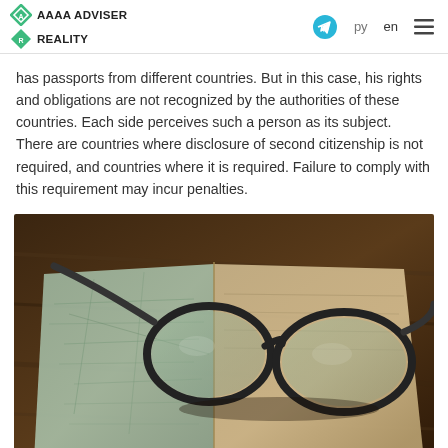AAAA ADVISER REALITY
has passports from different countries. But in this case, his rights and obligations are not recognized by the authorities of these countries. Each side perceives such a person as its subject. There are countries where disclosure of second citizenship is not required, and countries where it is required. Failure to comply with this requirement may incur penalties.
[Figure (photo): A pair of dark-framed glasses resting on an open book showing a map, on a wooden surface.]